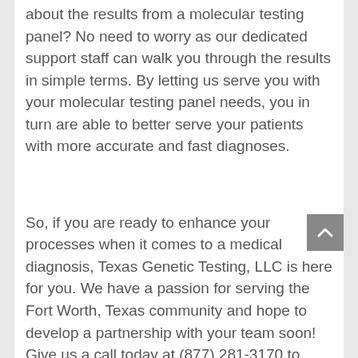about the results from a molecular testing panel? No need to worry as our dedicated support staff can walk you through the results in simple terms. By letting us serve you with your molecular testing panel needs, you in turn are able to better serve your patients with more accurate and fast diagnoses.
So, if you are ready to enhance your processes when it comes to a medical diagnosis, Texas Genetic Testing, LLC is here for you. We have a passion for serving the Fort Worth, Texas community and hope to develop a partnership with your team soon! Give us a call today at (877) 281-3170 to learn more about our molecular